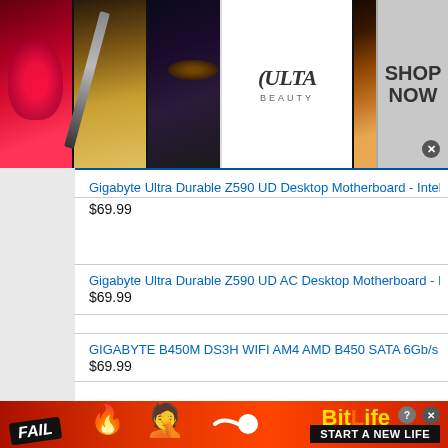[Figure (photo): Top advertisement banner for Ulta Beauty showing makeup imagery (lips, brush, smoky eye), Ulta Beauty logo, and 'SHOP NOW' call to action with close button]
Gigabyte Ultra Durable Z590 UD Desktop Motherboard - Intel Z590 C
$69.99
Gigabyte Ultra Durable Z590 UD AC Desktop Motherboard - Intel Z5
$69.99
GIGABYTE B450M DS3H WIFI AM4 AMD B450 SATA 6Gb/s
$69.99
[Figure (photo): Bottom advertisement banner for BitLife game showing 'FAIL' badge, fire emoji, person facepalm emoji, sperm icon, BitLife logo, help and close buttons, and 'START A NEW LIFE' banner on dark background]